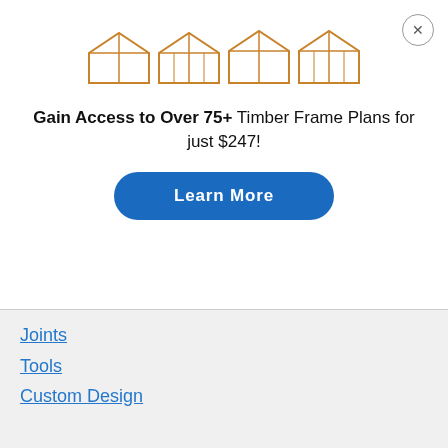[Figure (illustration): Four timber frame structure illustrations (open-sided wooden frame buildings) shown in a row]
Gain Access to Over 75+ Timber Frame Plans for just $247!
Learn More
Joints
Tools
Custom Design
Shipping Policy
Returns and Refunds
Calf. Prop 65 Information
Privacy Policy
Terms of Use
Timber Frame HQ
P.O. Box 133
Mountain Rest, SC 29664
Contact Us